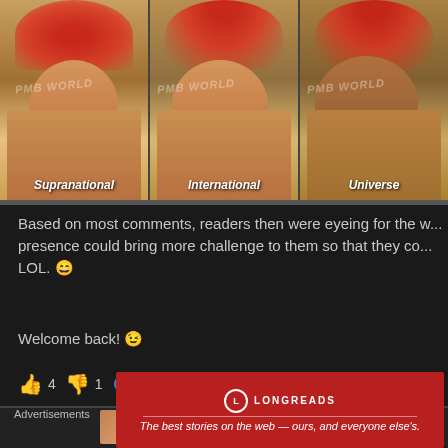[Figure (photo): Three beauty pageant contestants in golden outfits with red headdresses, labeled Supranational, International, and Universe. Watermark text 'PMB WORLD' visible across photos.]
Based on most comments, readers then were eyeing for the w... presence could bring more challenge to them so that they co... LOL. 😄
Welcome back! 😉
👍 4  👎 1  ℹ Rate This
Advertisements
[Figure (logo): Longreads advertisement banner. Red background with Longreads logo and text: 'The best stories on the web — ours, and everyone else's.']